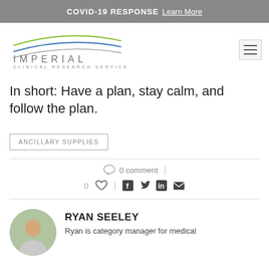COVID-19 RESPONSE  Learn More
[Figure (logo): Imperial Clinical Research Services logo with arc lines above the text]
In short: Have a plan, stay calm, and follow the plan.
ANCILLARY SUPPLIES
0 comment
0 likes, social share icons: Facebook, Twitter, LinkedIn, Email
RYAN SEELEY
Ryan is category manager for medical